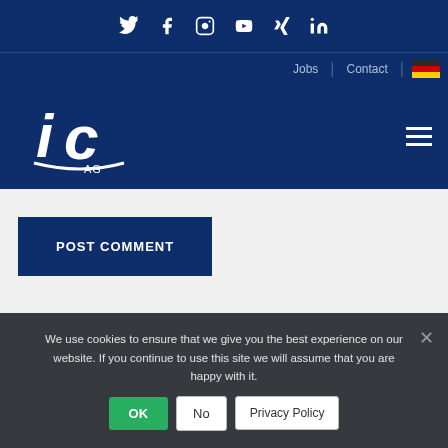Social media icons: Twitter, Facebook, Instagram, YouTube, Xing, LinkedIn
Jobs | Contact | DE (German flag)
[Figure (logo): IC AG company logo in white on dark blue background]
POST COMMENT
We use cookies to ensure that we give you the best experience on our website. If you continue to use this site we will assume that you are happy with it.
OK | No | Privacy Policy